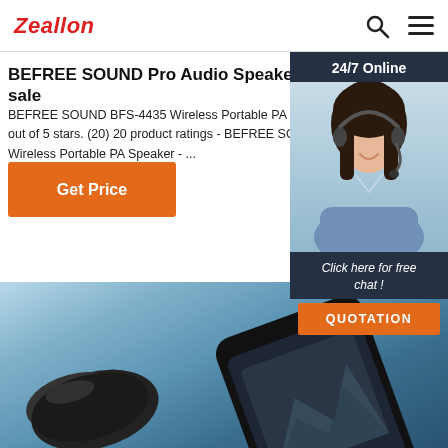Zeallon
BEFREE SOUND Pro Audio Speakers & Monitors for sale
BEFREE SOUND BFS-4435 Wireless Portable PA Sp... out of 5 stars. (20) 20 product ratings - BEFREE SOUND Wireless Portable PA Speaker - ...
Get Price
[Figure (photo): Customer support representative with headset, 24/7 Online chat widget with QUOTATION button]
[Figure (photo): Bluetooth speaker device and smartphone on blue gradient background]